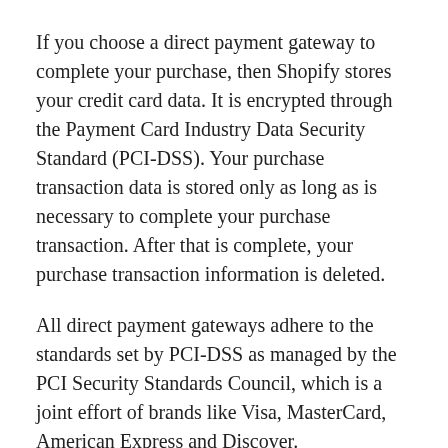If you choose a direct payment gateway to complete your purchase, then Shopify stores your credit card data. It is encrypted through the Payment Card Industry Data Security Standard (PCI-DSS). Your purchase transaction data is stored only as long as is necessary to complete your purchase transaction. After that is complete, your purchase transaction information is deleted.
All direct payment gateways adhere to the standards set by PCI-DSS as managed by the PCI Security Standards Council, which is a joint effort of brands like Visa, MasterCard, American Express and Discover.
PCI-DSS requirements help ensure the secure handling of credit card information by our store and its service providers.
For more insight, you may also want to read Shopify's Terms of